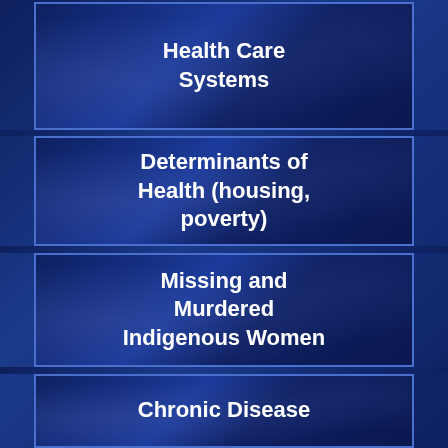Health Care Systems
Determinants of Health (housing, poverty)
Missing and Murdered Indigenous Women
Chronic Disease